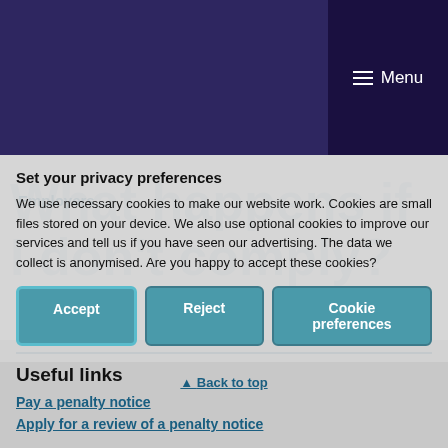Menu
Employers
What happens if I don't comply?
Set your privacy preferences
We use necessary cookies to make our website work. Cookies are small files stored on your device. We also use optional cookies to improve our services and tell us if you have seen our advertising. The data we collect is anonymised. Are you happy to accept these cookies?
Accept
Reject
Cookie preferences
Useful links
Pay a penalty notice
Apply for a review of a penalty notice
Back to top